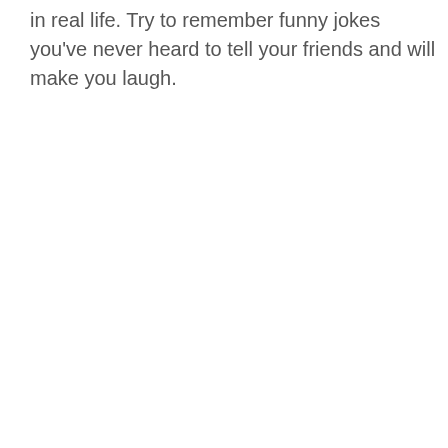in real life. Try to remember funny jokes you've never heard to tell your friends and will make you laugh.